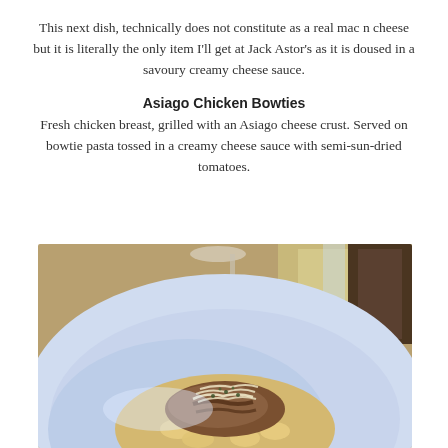This next dish, technically does not constitute as a real mac n cheese but it is literally the only item I'll get at Jack Astor's as it is doused in a savoury creamy cheese sauce.
Asiago Chicken Bowties
Fresh chicken breast, grilled with an Asiago cheese crust. Served on bowtie pasta tossed in a creamy cheese sauce with semi-sun-dried tomatoes.
[Figure (photo): A white bowl containing bowtie pasta with grilled Asiago chicken on top, garnished with shredded cheese and herbs. A wine glass and wooden furniture visible in the background.]